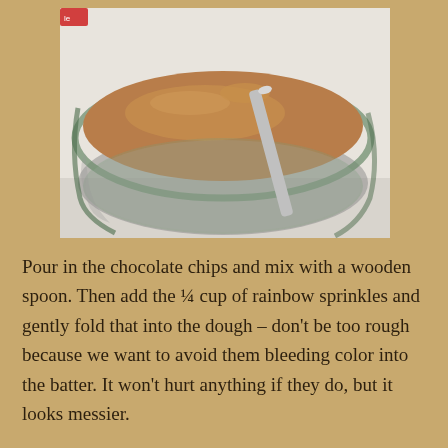[Figure (photo): A glass mixing bowl containing light brown cookie dough batter, with a silver/metal spoon resting in it, viewed from above on a white surface.]
Pour in the chocolate chips and mix with a wooden spoon.  Then add the ¼ cup of rainbow sprinkles and gently fold that into the dough – don't be too rough because we want to avoid them bleeding color into the batter.  It won't hurt anything if they do, but it looks messier.